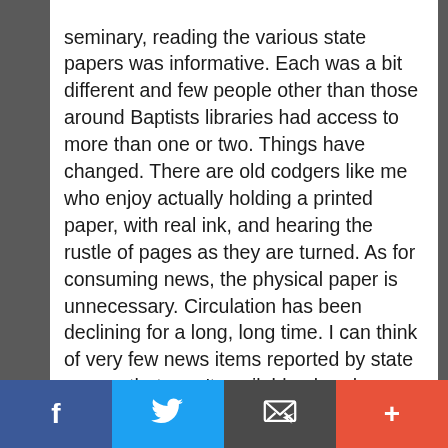seminary, reading the various state papers was informative. Each was a bit different and few people other than those around Baptists libraries had access to more than one or two. Things have changed. There are old codgers like me who enjoy actually holding a printed paper, with real ink, and hearing the rustle of pages as they are turned. As for consuming news, the physical paper is unnecessary. Circulation has been declining for a long, long time. I can think of very few news items reported by state papers that aren't available elsewhere, quicker. I couldn't justify the